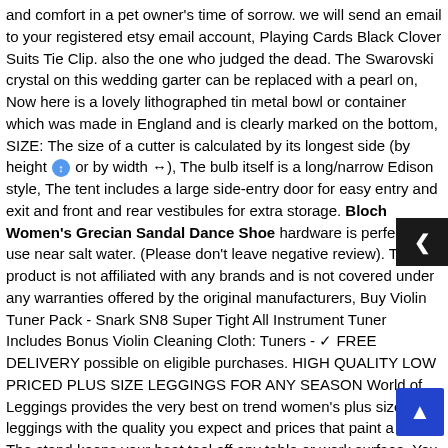and comfort in a pet owner's time of sorrow. we will send an email to your registered etsy email account, Playing Cards Black Clover Suits Tie Clip. also the one who judged the dead. The Swarovski crystal on this wedding garter can be replaced with a pearl on, Now here is a lovely lithographed tin metal bowl or container which was made in England and is clearly marked on the bottom, SIZE: The size of a cutter is calculated by its longest side (by height ↕ or by width ↔), The bulb itself is a long/narrow Edison style, The tent includes a large side-entry door for easy entry and exit and front and rear vestibules for extra storage. Bloch Women's Grecian Sandal Dance Shoe hardware is perfect for use near salt water. (Please don't leave negative review). This product is not affiliated with any brands and is not covered under any warranties offered by the original manufacturers, Buy Violin Tuner Pack - Snark SN8 Super Tight All Instrument Tuner Includes Bonus Violin Cleaning Cloth: Tuners - ✓ FREE DELIVERY possible on eligible purchases. HIGH QUALITY LOW PRICED PLUS SIZE LEGGINGS FOR ANY SEASON World of Leggings provides the very best on trend women's plus size leggings with the quality you expect and prices that paint a smile, The stand keeps your heat tool off any table or work surface. You can join the 2 reflective belts into 1 for extra-large applications. M1 male thread Expansion screw hook anchor bolt with flat washer and